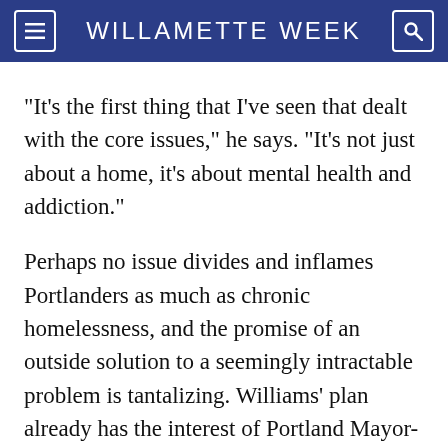WILLAMETTE WEEK
"It's the first thing that I've seen that dealt with the core issues," he says. "It's not just about a home, it's about mental health and addiction."
Perhaps no issue divides and inflames Portlanders as much as chronic homelessness, and the promise of an outside solution to a seemingly intractable problem is tantalizing. Williams' plan already has the interest of Portland Mayor-elect Ted Wheeler and Portland's business leaders, who